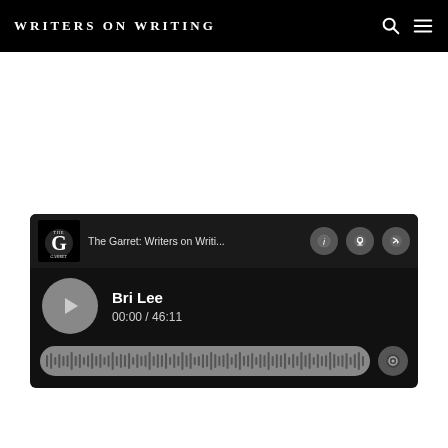WRITERS ON WRITING
[Figure (screenshot): Podcast audio player widget for 'The Garret: Writers on Writing...' episode featuring Bri Lee. Shows play button, episode title, time 00:00 / 46:11, and a progress/waveform bar. The player has a dark background with the Garret podcast logo, info button, podcast button, and share button.]